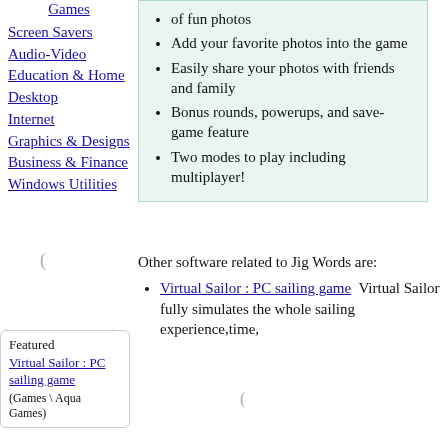Games
Screen Savers
Audio-Video
Education & Home
Desktop
Internet
Graphics & Designs
Business & Finance
Windows Utilities
of fun photos
Add your favorite photos into the game
Easily share your photos with friends and family
Bonus rounds, powerups, and save-game feature
Two modes to play including multiplayer!
Other software related to Jig Words are:
Virtual Sailor : PC sailing game  Virtual Sailor fully simulates the whole sailing experience,time,
Featured
Virtual Sailor : PC sailing game
(Games \ Aqua Games)